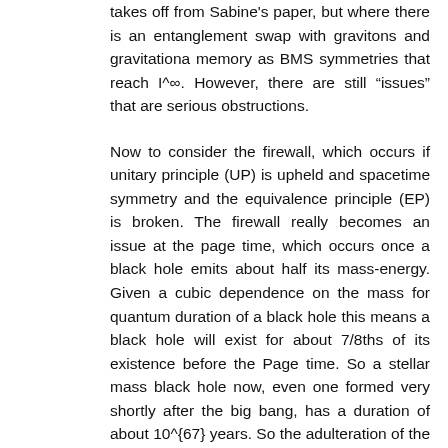takes off from Sabine's paper, but where there is an entanglement swap with gravitons and gravitationa memory as BMS symmetries that reach I^∞. However, there are still “issues” that are serious obstructions.
Now to consider the firewall, which occurs if unitary principle (UP) is upheld and spacetime symmetry and the equivalence principle (EP) is broken. The firewall really becomes an issue at the page time, which occurs once a black hole emits about half its mass-energy. Given a cubic dependence on the mass for quantum duration of a black hole this means a black hole will exist for about 7/8ths of its existence before the Page time. So a stellar mass black hole now, even one formed very shortly after the big bang, has a duration of about 10^{67} years. So the adulteration of the EP and any oddity on the horizon may be a very tiny effect. If black holes now have firewalls I would expect these to be primordial black holes, not stellar mass ones. An infalling observer might have a difficult time